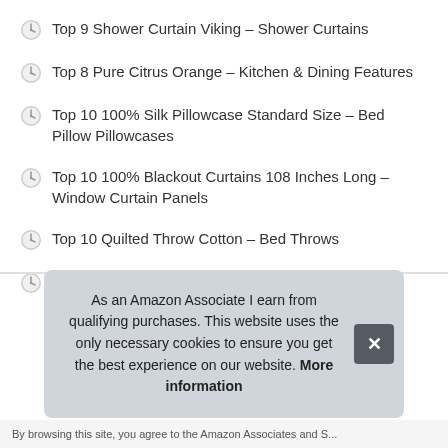Top 9 Shower Curtain Viking – Shower Curtains
Top 8 Pure Citrus Orange – Kitchen & Dining Features
Top 10 100% Silk Pillowcase Standard Size – Bed Pillow Pillowcases
Top 10 100% Blackout Curtains 108 Inches Long – Window Curtain Panels
Top 10 Quilted Throw Cotton – Bed Throws
Top 10 3PC Bath Rug Set for Bathroom – Bath Rugs
As an Amazon Associate I earn from qualifying purchases. This website uses the only necessary cookies to ensure you get the best experience on our website. More information